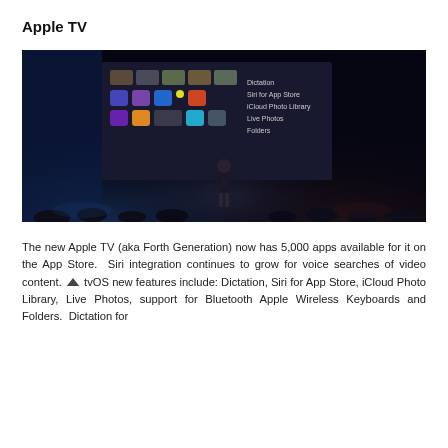Apple TV
[Figure (photo): Presenter on stage at an Apple event, standing in front of a large screen showing Apple TV interface with app icons and a feature list: Dictation, Siri for App Store, iCloud Photo Library, Live Photos, Folders]
The new Apple TV (aka Forth Generation) now has 5,000 apps available for it on the App Store.  Siri integration continues to grow for voice searches of video content. tvOS new features include: Dictation, Siri for App Store, iCloud Photo Library, Live Photos, support for Bluetooth Apple Wireless Keyboards and Folders.  Dictation for